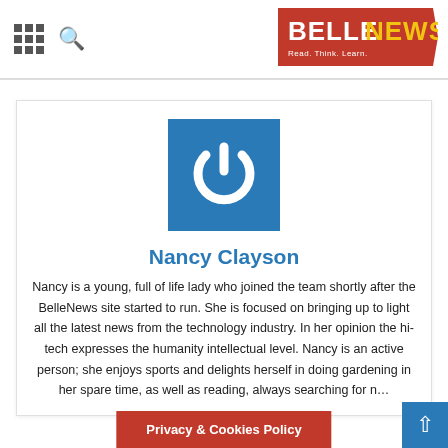BELLENEWS — Read. Think. Learn.
[Figure (logo): BelleNews logo — red background with BELLE in white bold and NEWS in yellow bold, tagline 'Read. Think. Learn.']
[Figure (illustration): Blue square icon with white power button symbol]
Nancy Clayson
Nancy is a young, full of life lady who joined the team shortly after the BelleNews site started to run. She is focused on bringing up to light all the latest news from the technology industry. In her opinion the hi-tech expresses the humanity intellectual level. Nancy is an active person; she enjoys sports and delights herself in doing gardening in her spare time, as well as reading, always searching for n…
Privacy & Cookies Policy